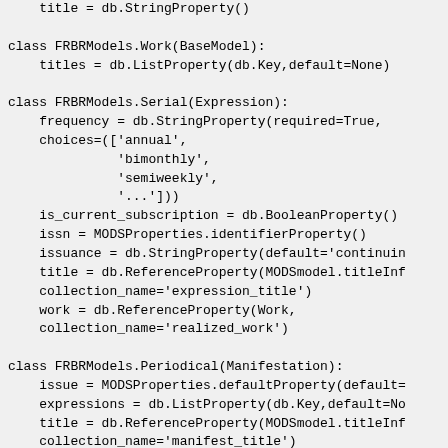Code snippet showing Python class definitions for FRBRModels.Work, FRBRModels.Serial, FRBRModels.Periodical, and Item(BaseModel) with various database property assignments.